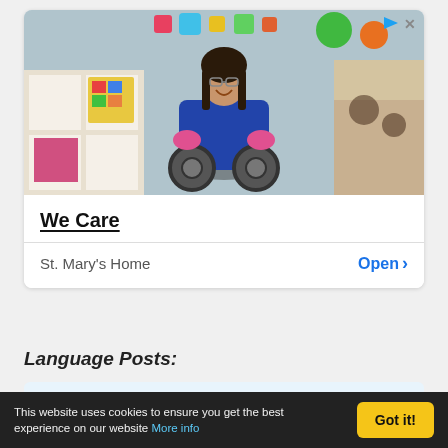[Figure (photo): Advertisement image showing a smiling person in a motorized wheelchair in a colorful bedroom setting. Small play-button (triangle) and X icons visible in top-right corner of image.]
We Care
St. Mary's Home   Open >
Language Posts:
1 Language Dictionaries Online
2 Language Dictionaries Books
This website uses cookies to ensure you get the best experience on our website More info   Got it!